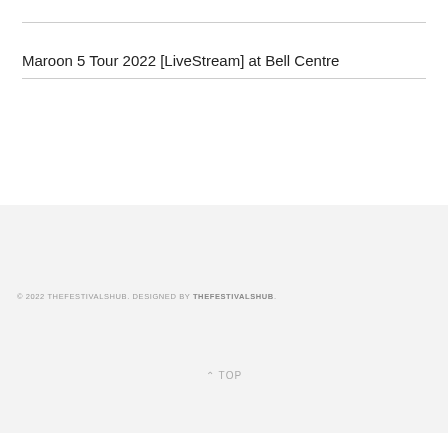Maroon 5 Tour 2022 [LiveStream] at Bell Centre
© 2022 THEFESTIVALSHUB. DESIGNED BY THEFESTIVALSHUB.
^ TOP